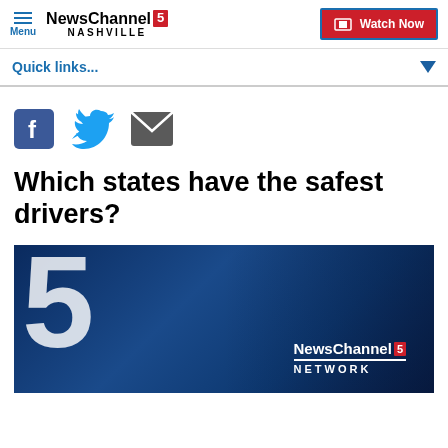Menu | NewsChannel 5 NASHVILLE | Watch Now
Quick links...
[Figure (other): Social sharing icons: Facebook (blue square with f), Twitter (blue bird), Email (dark envelope)]
Which states have the safest drivers?
[Figure (photo): NewsChannel 5 Network branded image with large white '5' numeral on dark blue background, with the NewsChannel 5 Network logo overlaid in the lower right]